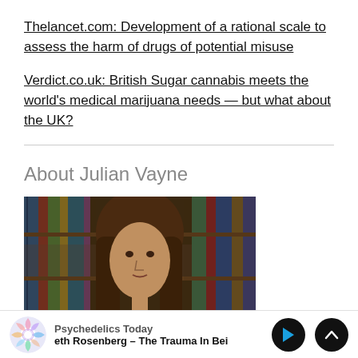Thelancet.com: Development of a rational scale to assess the harm of drugs of potential misuse
Verdict.co.uk: British Sugar cannabis meets the world's medical marijuana needs — but what about the UK?
About Julian Vayne
[Figure (photo): Portrait photo of Julian Vayne, a person with long brown hair, seated in front of a bookshelf filled with books.]
Psychedelics Today — eth Rosenberg – The Trauma In Bei